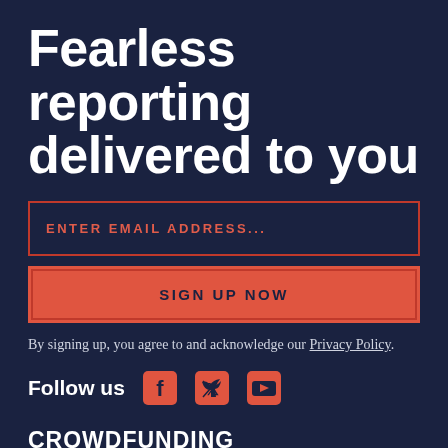Fearless reporting delivered to you
ENTER EMAIL ADDRESS...
SIGN UP NOW
By signing up, you agree to and acknowledge our Privacy Policy.
Follow us
[Figure (illustration): Social media icons: Facebook, Twitter, YouTube in orange/red color]
CROWDFUNDING
PRIVACY STATEMENT